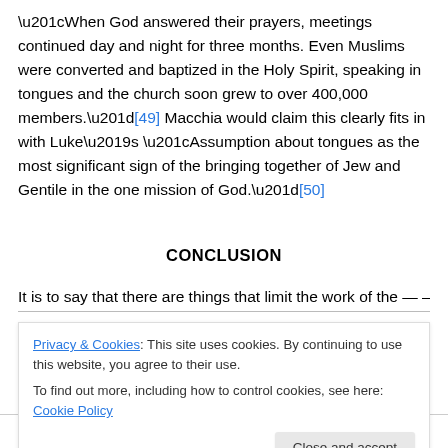“When God answered their prayers, meetings continued day and night for three months. Even Muslims were converted and baptized in the Holy Spirit, speaking in tongues and the church soon grew to over 400,000 members.”[49] Macchia would claim this clearly fits in with Luke’s “Assumption about tongues as the most significant sign of the bringing together of Jew and Gentile in the one mission of God.”[50]
CONCLUSION
It is to say that there are things that limit the work of the...
Privacy & Cookies: This site uses cookies. By continuing to use this website, you agree to their use.
To find out more, including how to control cookies, see here: Cookie Policy
limiting the impact He can have in and through a